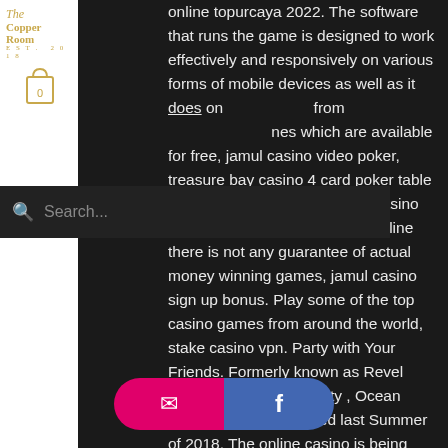The Copper Room — EST. 2018
online topurcaya 2022. The software that runs the game is designed to work effectively and responsively on various forms of mobile devices as well as it does on [partially obscured] from [partially obscured] nes which are available for free, jamul casino video poker, treasure bay casino 4 card poker table limits. But as with every other casino recreation you play on-line or offline there is not any guarantee of actual money winning games, jamul casino sign up bonus. Play some of the top casino games from around the world, stake casino vpn. Party with Your Friends. Formerly known as Revel Casino Hotel Atlantic City , Ocean Resort Casino reopened last Summer of 2018. The online casino is being operated by the online casino supplier GAN, poker with one dollar deposit online [obscured] to redeem the bonus, [obscured] apk 5.2. Minimal deposit necessities: $20. There are
[Figure (infographic): Email and Facebook share buttons rendered as pill-shaped social media buttons at the bottom of the screen]